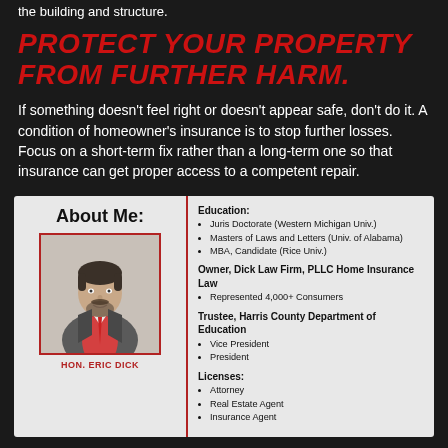the building and structure.
PROTECT YOUR PROPERTY FROM FURTHER HARM.
If something doesn't feel right or doesn't appear safe, don't do it. A condition of homeowner's insurance is to stop further losses. Focus on a short-term fix rather than a long-term one so that insurance can get proper access to a competent repair.
About Me:
[Figure (photo): Portrait photo of Hon. Eric Dick, a man in a grey suit with red tie and checkered shirt]
HON. ERIC DICK
Education:
Juris Doctorate (Western Michigan Univ.)
Masters of Laws and Letters (Univ. of Alabama)
MBA, Candidate (Rice Univ.)
Owner, Dick Law Firm, PLLC Home Insurance Law
Represented 4,000+ Consumers
Trustee, Harris County Department of Education
Vice President
President
Licenses:
Attorney
Real Estate Agent
Insurance Agent